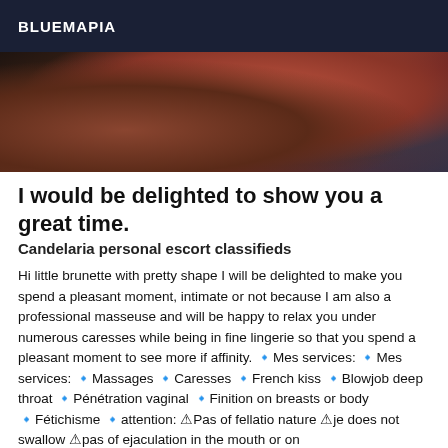BLUEMAPIA
[Figure (photo): Close-up photograph showing skin and red fabric/lingerie in dark tones]
I would be delighted to show you a great time.
Candelaria personal escort classifieds
Hi little brunette with pretty shape I will be delighted to make you spend a pleasant moment, intimate or not because I am also a professional masseuse and will be happy to relax you under numerous caresses while being in fine lingerie so that you spend a pleasant moment to see more if affinity. 🔹Mes services: 🔹Mes services: 🔹Massages 🔹Caresses 🔹French kiss 🔹Blowjob deep throat 🔹Pénétration vaginal 🔹Finition on breasts or body 🔹Fétichisme 🔹attention: ⚠Pas of fellatio nature ⚠je does not swallow ⚠pas of ejaculation in the mouth or on